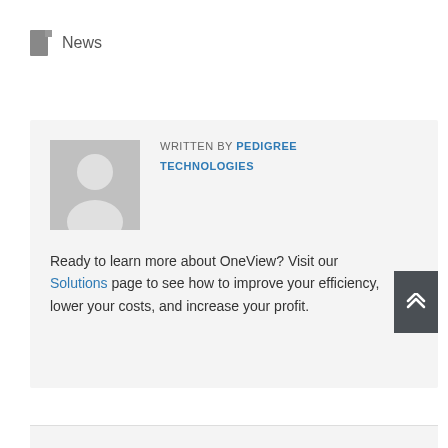News
WRITTEN BY PEDIGREE TECHNOLOGIES
Ready to learn more about OneView? Visit our Solutions page to see how to improve your efficiency, lower your costs, and increase your profit.